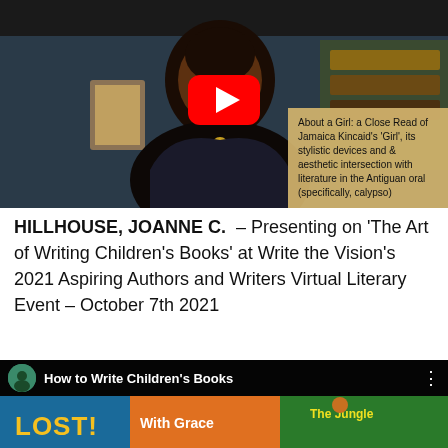[Figure (screenshot): YouTube video thumbnail showing a woman presenting. Top bar shows 'Antigua Barbuda Conference prese...' title. A speech bubble says '2021'. Overlay text box in bottom-right reads 'About a Girl: a Close Read of Jamaica Kincaid's Girl', its stylistic devices and & aesthetic intersection with literature in the Antiguan oral (specifically, calypso)'. A YouTube play button is centered.]
HILLHOUSE, JOANNE C. – Presenting on 'The Art of Writing Children's Books' at Write the Vision's 2021 Aspiring Authors and Writers Virtual Literary Event – October 7th 2021
[Figure (screenshot): YouTube video thumbnail showing children's book covers including 'LOST!', 'With Grace', and 'The Jungle'. Top bar shows 'How to Write Children's Books' title with a circular avatar.]